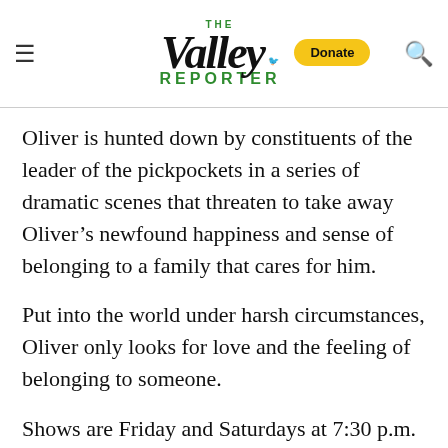The Valley Reporter
Oliver is hunted down by constituents of the leader of the pickpockets in a series of dramatic scenes that threaten to take away Oliver’s newfound happiness and sense of belonging to a family that cares for him.
Put into the world under harsh circumstances, Oliver only looks for love and the feeling of belonging to someone.
Shows are Friday and Saturdays at 7:30 p.m. with Sunday matinees at 2 p.m. Refreshments will be offered during intermission and donations for the...